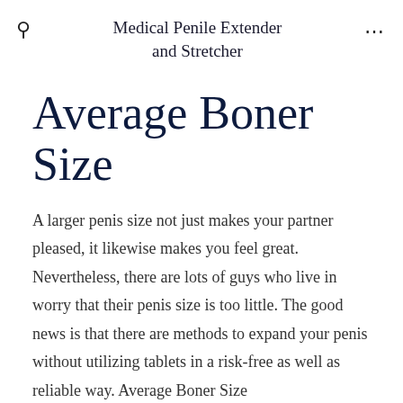Medical Penile Extender and Stretcher
Average Boner Size
A larger penis size not just makes your partner pleased, it likewise makes you feel great. Nevertheless, there are lots of guys who live in worry that their penis size is too little. The good news is that there are methods to expand your penis without utilizing tablets in a risk-free as well as reliable way. Average Boner Size
Penis Pills Do Not Work